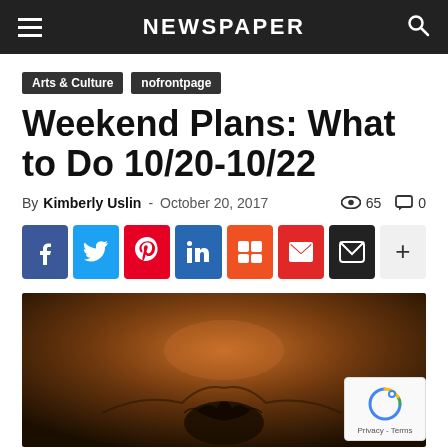NEWSPAPER
Arts & Culture   nofrontpage
Weekend Plans: What to Do 10/20-10/22
By Kimberly Uslin - October 20, 2017   65   0
[Figure (infographic): Row of social media sharing buttons: Facebook (blue), Twitter (cyan), Pinterest (red), LinkedIn (blue), Mix (orange), Flipboard (red), Email (black), More (+, gray)]
[Figure (photo): Dark moody outdoor photo with warm brown tones showing a nest or natural object silhouetted against a dramatic cloudy sky]